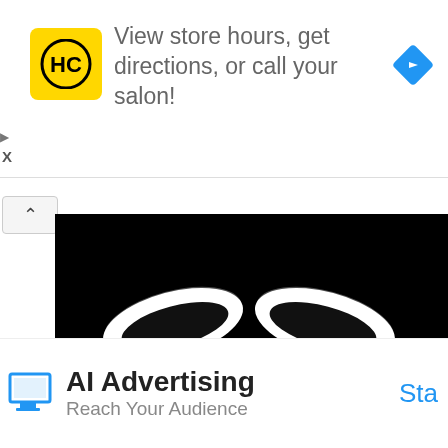[Figure (screenshot): Top advertisement banner with HC salon logo (yellow square with HC text), text 'View store hours, get directions, or call your salon!', and a blue navigation diamond icon. Small play and X controls on left.]
[Figure (photo): Black image with two glowing white evil eyes and bold white text reading 'ARE THEY VILLAINS?' in a horror-style font. Part of a video or article thumbnail.]
[Figure (screenshot): Bottom advertisement banner with monitor icon, bold text 'AI Advertising', subtext 'Reach Your Audience', and blue 'Sta' (Start) button partially visible.]